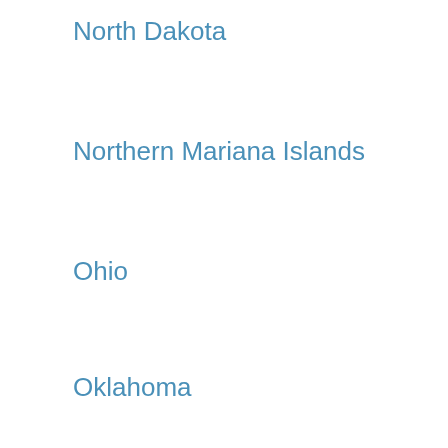North Dakota
Northern Mariana Islands
Ohio
Oklahoma
Oregon
Palau
Pennsylvania
Puerto Rico
Rhode Island